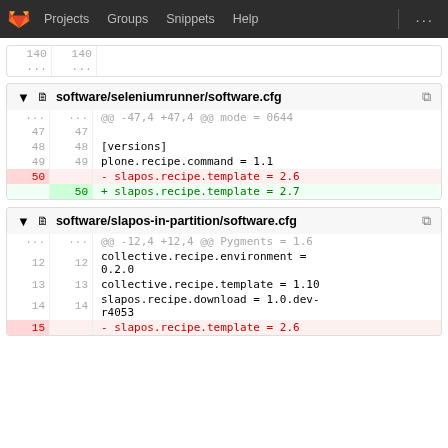GitLab — Projects  Groups  Snippets  Help
[Figure (screenshot): Partial diff block showing line 140 and ellipsis]
software/seleniumrunner/software.cfg
| old | new | code |
| --- | --- | --- |
| ... | ... | @@ -47,4 +47,4 @@ mode = 0644 |
| 47 | 47 |  |
| 48 | 48 | [versions] |
| 49 | 49 | plone.recipe.command = 1.1 |
| 50 |  | - slapos.recipe.template = 2.6 |
|  | 50 | + slapos.recipe.template = 2.7 |
software/slapos-in-partition/software.cfg
| old | new | code |
| --- | --- | --- |
| ... | ... | @@ -12,4 +12,4 @@ Pygments = 1.6 |
| 12 | 12 | collective.recipe.environment = 0.2.0 |
| 13 | 13 | collective.recipe.template = 1.10 |
| 14 | 14 | slapos.recipe.download = 1.0.dev-r4053 |
| 15 |  | - slapos.recipe.template = 2.6 |